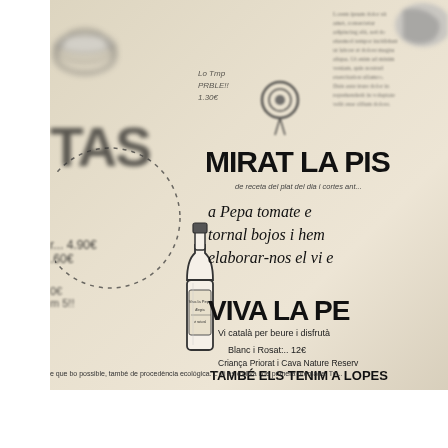[Figure (photo): Photograph of a restaurant menu printed on paper, showing hand-drawn illustrations including a wine bottle, decorative dotted circle, small icons, and handwritten/stylized text in Catalan. The image is taken at an angle with some areas in focus and others blurred. Visible text includes 'MIRAT LA PIS', 'a Pepa tomate e... tornal bojos i hem... elaborar-nos el vi e...', 'VIVA LA PE', 'Vi català per beure i disfruta...', 'Blanc i Rosat: 12€', 'Criança Priorat i Cava Nature Reserv...', 'TAMBÉ ELS TENIM A LOPES...', and a bottom footnote about ecological produce.]
MIRAT LA PIS
a Pepa tomate e tornal bojos i hem elaborar-nos el vi e
VIVA LA PE
Vi català per beure i disfrutà
Blanc i Rosat: 12€
Criança Priorat i Cava Nature Reserv
TAMBÉ ELS TENIM A LOPES
e que bo possible, també de procedència ecológica. L'oli és d'oliva i de primera premada. Tri...